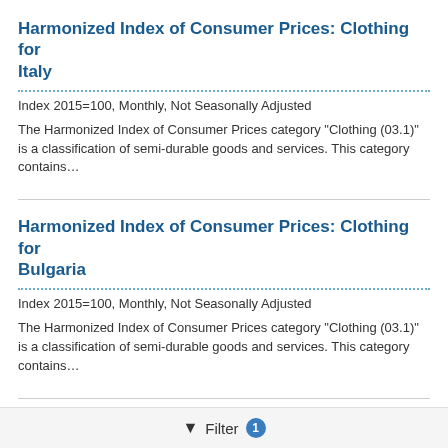Harmonized Index of Consumer Prices: Clothing for Italy
Index 2015=100, Monthly, Not Seasonally Adjusted
The Harmonized Index of Consumer Prices category "Clothing (03.1)" is a classification of semi-durable goods and services. This category contains…
Harmonized Index of Consumer Prices: Clothing for Bulgaria
Index 2015=100, Monthly, Not Seasonally Adjusted
The Harmonized Index of Consumer Prices category "Clothing (03.1)" is a classification of semi-durable goods and services. This category contains…
Harmonized Index of Consumer Prices: Clothing for Slovenia
Index 2015=100, Monthly, Not Seasonally Adjusted
The Harmonized Index of Consumer Prices category "Clothing (03.1)" is a
Filter 1